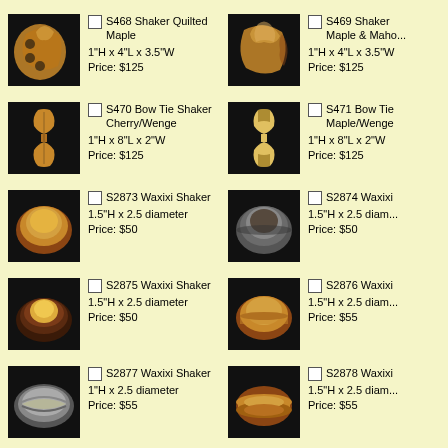S468 Shaker Quilted Maple
1"H x 4"L x 3.5"W
Price: $125
S469 Shaker Maple & Mahogany
1"H x 4"L x 3.5"W
Price: $125
S470 Bow Tie Shaker Cherry/Wenge
1"H x 8"L x 2"W
Price: $125
S471 Bow Tie Shaker Maple/Wenge
1"H x 8"L x 2"W
Price: $125
S2873 Waxixi Shaker
1.5"H x 2.5 diameter
Price: $50
S2874 Waxixi Shaker
1.5"H x 2.5 diameter
Price: $50
S2875 Waxixi Shaker
1.5"H x 2.5 diameter
Price: $50
S2876 Waxixi Shaker
1.5"H x 2.5 diameter
Price: $55
S2877 Waxixi Shaker
1"H x 2.5 diameter
Price: $55
S2878 Waxixi Shaker
1.5"H x 2.5 diameter
Price: $55